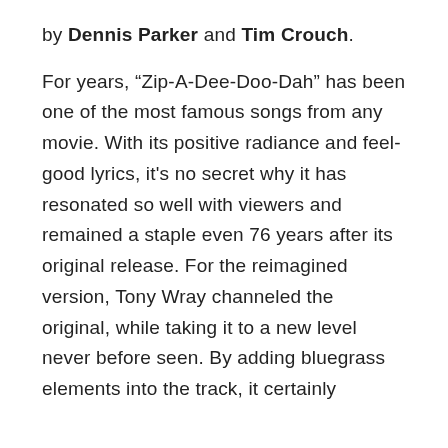by Dennis Parker and Tim Crouch.
For years, “Zip-A-Dee-Doo-Dah” has been one of the most famous songs from any movie. With its positive radiance and feel-good lyrics, it's no secret why it has resonated so well with viewers and remained a staple even 76 years after its original release. For the reimagined version, Tony Wray channeled the original, while taking it to a new level never before seen. By adding bluegrass elements into the track, it certainly